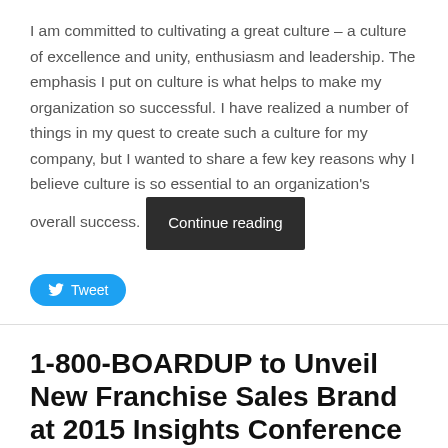I am committed to cultivating a great culture – a culture of excellence and unity, enthusiasm and leadership. The emphasis I put on culture is what helps to make my organization so successful. I have realized a number of things in my quest to create such a culture for my company, but I wanted to share a few key reasons why I believe culture is so essential to an organization's overall success.
Tweet
1-800-BOARDUP to Unveil New Franchise Sales Brand at 2015 Insights Conference